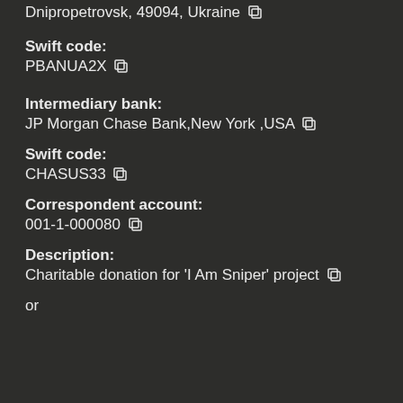Dnipropetrovsk, 49094, Ukraine
Swift code: PBANUA2X
Intermediary bank: JP Morgan Chase Bank,New York ,USA
Swift code: CHASUS33
Correspondent account: 001-1-000080
Description: Charitable donation for 'I Am Sniper' project
or